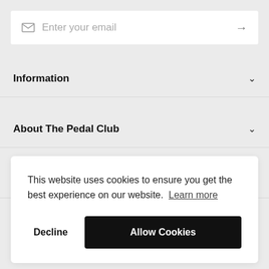[Figure (other): Email input field with envelope icon on left and right arrow on right, placeholder text 'Enter your email']
Information
About The Pedal Club
Our store
This website uses cookies to ensure you get the best experience on our website. Learn more
Decline
Allow Cookies